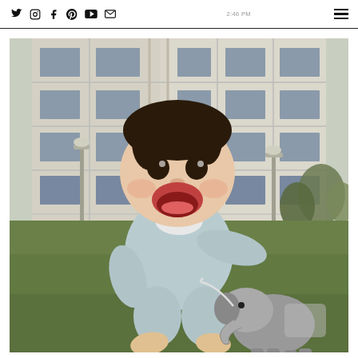Social media navigation bar with Twitter, Instagram, Facebook, Pinterest, YouTube, Email icons and hamburger menu
[Figure (photo): A joyful baby sitting on green grass, laughing with mouth wide open and arms outstretched. The baby wears a light blue/grey knit romper outfit. In the foreground is a grey wooden elephant toy. The background shows a modern apartment building with many windows and some trees.]